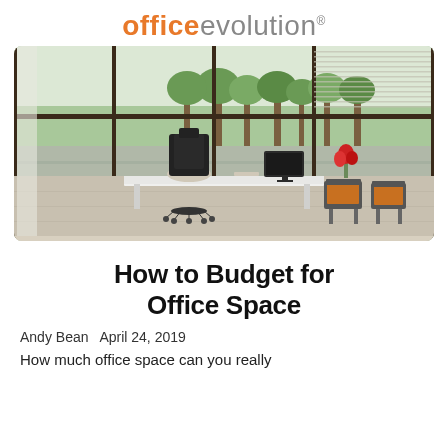office evolution
[Figure (photo): Modern office interior with large floor-to-ceiling windows overlooking trees and a parking lot. A white adjustable desk sits in the center with a black ergonomic chair, a computer monitor, and a small red flower arrangement. Two orange guest chairs are positioned to the right. Natural light fills the space.]
How to Budget for Office Space
Andy Bean April 24, 2019
How much office space can you really